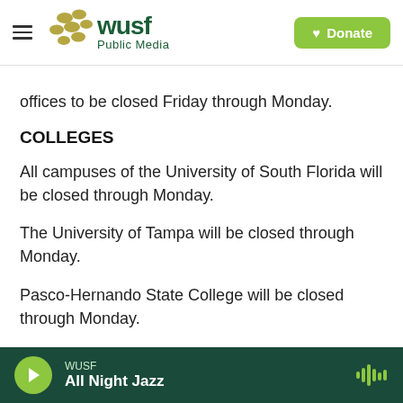WUSF Public Media | Donate
offices to be closed Friday through Monday.
COLLEGES
All campuses of the University of South Florida will be closed through Monday.
The University of Tampa will be closed through Monday.
Pasco-Hernando State College will be closed through Monday.
Florida Gulf Coast University will be closed Friday,
WUSF | All Night Jazz